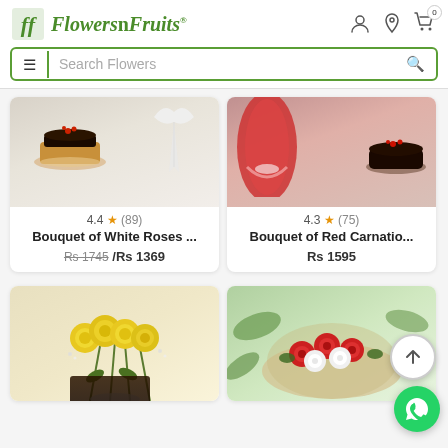Flowers n Fruits
[Figure (screenshot): Bouquet of White Roses product image with chocolate cake]
4.4 ★ (89)
Bouquet of White Roses ...
Rs 1745 /Rs 1369
[Figure (screenshot): Bouquet of Red Carnations product image with chocolate cake]
4.3 ★ (75)
Bouquet of Red Carnatio...
Rs 1595
[Figure (screenshot): Yellow roses bouquet product image]
[Figure (screenshot): Mixed red and white roses arrangement product image]